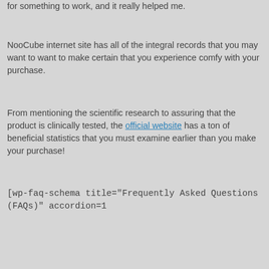for something to work, and it really helped me.
NooCube internet site has all of the integral records that you may want to want to make certain that you experience comfy with your purchase.
From mentioning the scientific research to assuring that the product is clinically tested, the official website has a ton of beneficial statistics that you must examine earlier than you make your purchase!
[wp-faq-schema title="Frequently Asked Questions (FAQs)" accordion=1
[Figure (infographic): NooCube product card with Editor's choice badge, Trust score 94%, Enhance Cognitive Function feature, product bottle image, and TRUSTED approved stamp.]